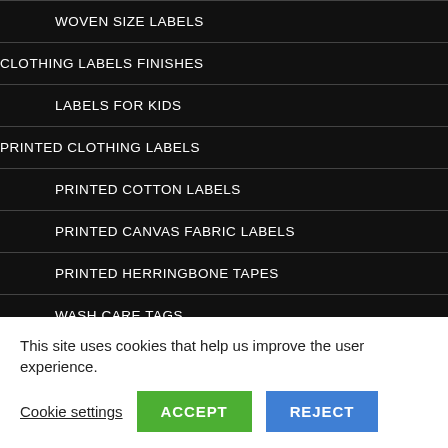WOVEN SIZE LABELS
CLOTHING LABELS FINISHES
LABELS FOR KIDS
PRINTED CLOTHING LABELS
PRINTED COTTON LABELS
PRINTED CANVAS FABRIC LABELS
PRINTED HERRINGBONE TAPES
WASH CARE TAGS
HANG TAGS / SWINGERS
This site uses cookies that help us improve the user experience.
Cookie settings  ACCEPT  REJECT